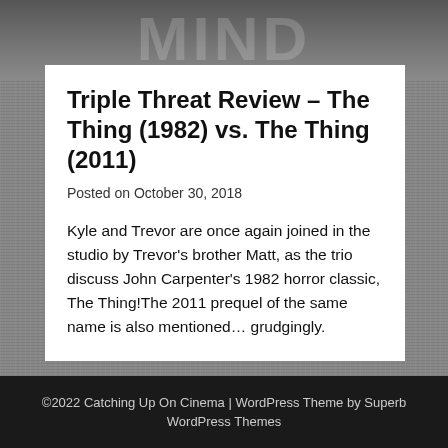[Figure (photo): Dark grainy background with partial movie title text visible at the top]
Triple Threat Review – The Thing (1982) vs. The Thing (2011)
Posted on October 30, 2018
Kyle and Trevor are once again joined in the studio by Trevor's brother Matt, as the trio discuss John Carpenter's 1982 horror classic, The Thing!The 2011 prequel of the same name is also mentioned… grudgingly.
©2022 Catching Up On Cinema | WordPress Theme by Superb WordPress Themes